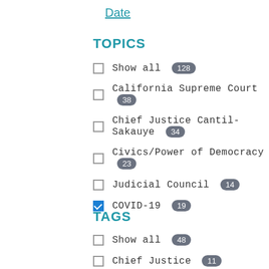Date
TOPICS
Show all 128
California Supreme Court 38
Chief Justice Cantil-Sakauye 34
Civics/Power of Democracy 23
Judicial Council 14
COVID-19 19
TAGS
Show all 48
Chief Justice 11